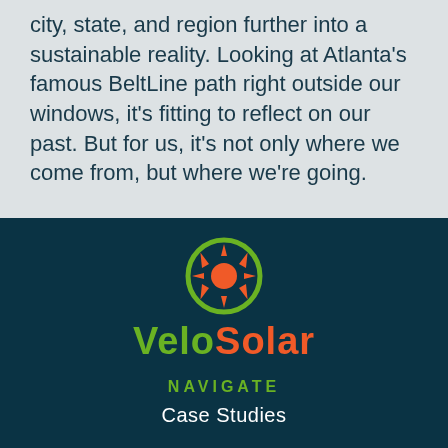city, state, and region further into a sustainable reality. Looking at Atlanta’s famous BeltLine path right outside our windows, it’s fitting to reflect on our past. But for us, it’s not only where we come from, but where we’re going.
[Figure (logo): VeloSolar logo: green circle with orange sun icon above the text 'VeloSolar' in green and orange]
NAVIGATE
Case Studies